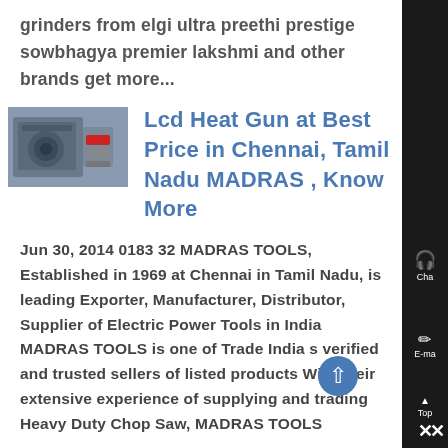grinders from elgi ultra preethi prestige sowbhagya premier lakshmi and other brands get more...
[Figure (photo): Thumbnail image of industrial machinery (grinder/crusher equipment), dark grey tones with red accent]
Lcd Heat Gun at Best Price in Chennai, Tamil Nadu MADRAS , Know More
Jun 30, 2014 0183 32 MADRAS TOOLS, Established in 1969 at Chennai in Tamil Nadu, is leading Exporter, Manufacturer, Distributor, Supplier of Electric Power Tools in India MADRAS TOOLS is one of Trade India s verified and trusted sellers of listed products With their extensive experience of supplying and trading Heavy Duty Chop Saw, MADRAS TOOLS